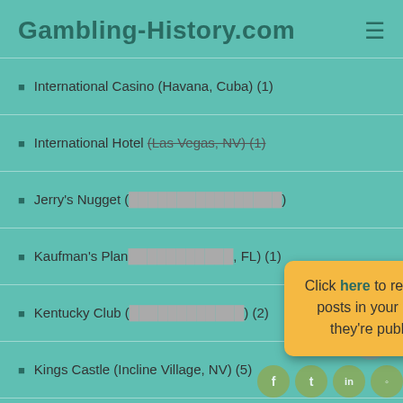Gambling-History.com
International Casino (Havana, Cuba) (1)
International Hotel (Las Vegas, NV) (1)
Jerry's Nugget (1)
Kaufman's Plan (FL) (1)
Kentucky Club (Hot Springs, AR) (2)
Kings Castle (Incline Village, NV) (5)
Knightsbridge Sporting Club (London, England) (1)
La Boite Amusement Palace (Reno, NV) (1)
[Figure (infographic): Popup modal with yellow background saying 'Click here to receive blog posts in your inbox as they're published.' with a close button. Social media icons visible at bottom right. Scroll-up arrow button visible.]